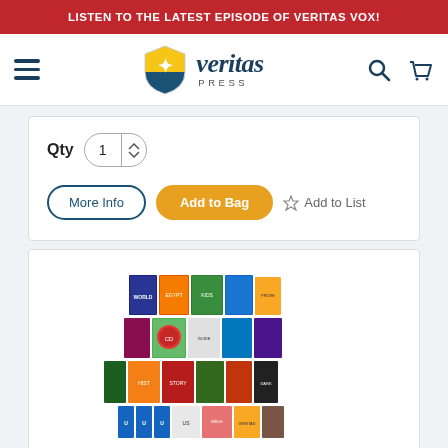LISTEN TO THE LATEST EPISODE OF VERITAS VOX!
[Figure (logo): Veritas Press logo with shield emblem and italic veritas text with PRESS subtitle]
Qty 1
More Info
Add to Bag
Add to List
[Figure (photo): Collection of approximately 25 children's educational books arranged in 4 rows]